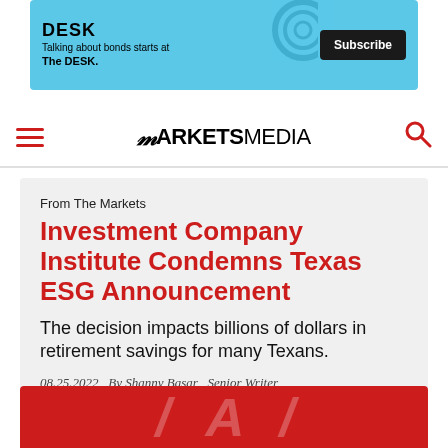[Figure (other): Advertisement banner for The DESK — 'Talking about bonds starts at The DESK.' with a Subscribe button on a light blue background.]
MARKETSMEDIA navigation bar with hamburger menu and search icon
From The Markets
Investment Company Institute Condemns Texas ESG Announcement
The decision impacts billions of dollars in retirement savings for many Texans.
08.25.2022   By Shanny Basar , Senior Writer
[Figure (photo): Partial red image at bottom of page showing white stylized text/logo]